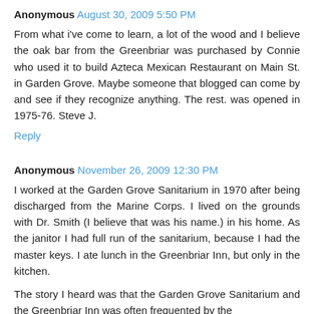Anonymous August 30, 2009 5:50 PM
From what i've come to learn, a lot of the wood and I believe the oak bar from the Greenbriar was purchased by Connie who used it to build Azteca Mexican Restaurant on Main St. in Garden Grove. Maybe someone that blogged can come by and see if they recognize anything. The rest. was opened in 1975-76. Steve J.
Reply
Anonymous November 26, 2009 12:30 PM
I worked at the Garden Grove Sanitarium in 1970 after being discharged from the Marine Corps. I lived on the grounds with Dr. Smith (I believe that was his name.) in his home. As the janitor I had full run of the sanitarium, because I had the master keys. I ate lunch in the Greenbriar Inn, but only in the kitchen.
The story I heard was that the Garden Grove Sanitarium and the Greenbriar Inn was often frequented by the